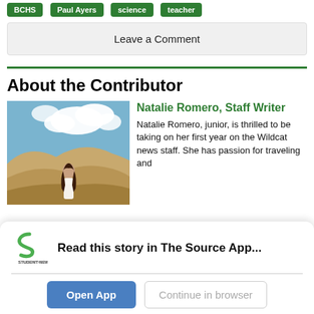BCHS
Paul Ayers
science
teacher
Leave a Comment
About the Contributor
[Figure (photo): Photo of Natalie Romero standing in front of sand dunes with a blue sky and clouds]
Natalie Romero, Staff Writer
Natalie Romero, junior, is thrilled to be taking on her first year on the Wildcat news staff. She has passion for traveling and
Read this story in The Source App...
Open App
Continue in browser